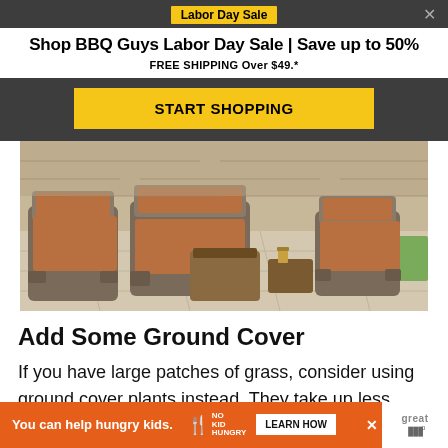Labor Day Sale
Shop BBQ Guys Labor Day Sale | Save up to 50%
FREE SHIPPING Over $49.*
START SHOPPING
[Figure (photo): Outdoor patio set with wicker chairs and sofas with orange/rust cushions on a stamped concrete patio, with green lawn in background]
Add Some Ground Cover
If you have large patches of grass, consider using ground cover plants instead. They take up less room, give you
You can help hungry kids.
LEARN HOW